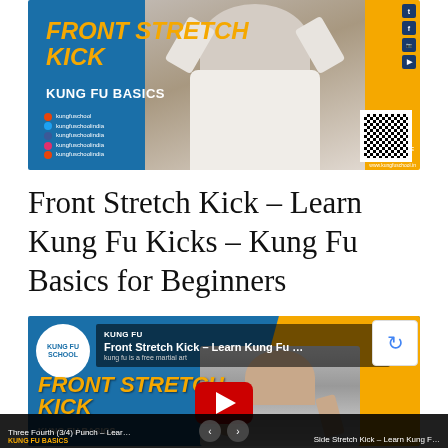[Figure (illustration): Kung Fu School promotional banner for Front Stretch Kick - Kung Fu Basics. Blue and orange design with a martial artist in white Puma shirt, social media icons, QR code, and website URL www.kungfuschool.in]
Front Stretch Kick – Learn Kung Fu Kicks – Kung Fu Basics for Beginners
[Figure (screenshot): Embedded YouTube video player showing 'Front Stretch Kick – Learn Kung Fu...' with Kung Fu School logo, play button, navigation arrows, and bottom navigation bar showing 'Three Fourth (3/4) Punch – Lear... KUNG FU BASICS' and 'Side Stretch Kick – Learn Kung F...']